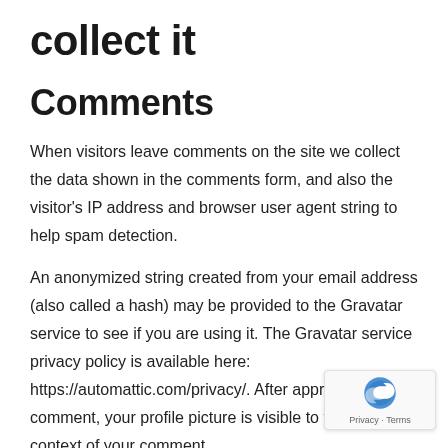collect it
Comments
When visitors leave comments on the site we collect the data shown in the comments form, and also the visitor's IP address and browser user agent string to help spam detection.
An anonymized string created from your email address (also called a hash) may be provided to the Gravatar service to see if you are using it. The Gravatar service privacy policy is available here: https://automattic.com/privacy/. After approval of your comment, your profile picture is visible to the public context of your comment.